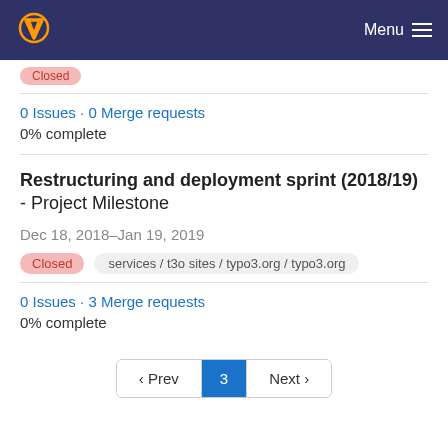Menu
0 Issues · 0 Merge requests
0% complete
Restructuring and deployment sprint (2018/19) - Project Milestone
Dec 18, 2018–Jan 19, 2019
Closed  services / t3o sites / typo3.org / typo3.org
0 Issues · 3 Merge requests
0% complete
‹ Prev  3  Next ›